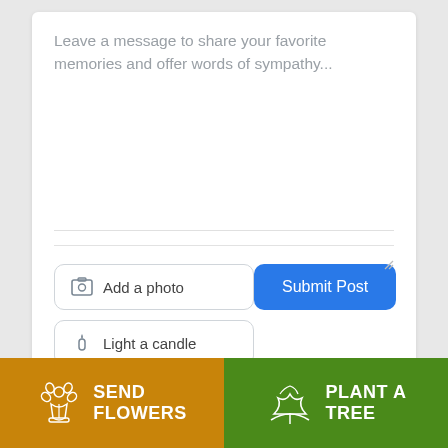Leave a message to share your favorite memories and offer words of sympathy...
[Figure (screenshot): Text input area with placeholder text, two outline buttons (Add a photo, Light a candle), and a blue Submit Post button]
[Figure (photo): Dark blurred photo strip showing what appears to be a floral or nature scene]
SEND FLOWERS
PLANT A TREE